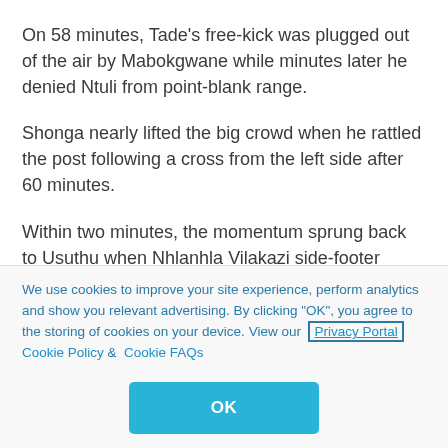On 58 minutes, Tade's free-kick was plugged out of the air by Mabokgwane while minutes later he denied Ntuli from point-blank range.
Shonga nearly lifted the big crowd when he rattled the post following a cross from the left side after 60 minutes.
Within two minutes, the momentum sprung back to Usuthu when Nhlanhla Vilakazi side-footer brought a good save out of Mabokgwane.
We use cookies to improve your site experience, perform analytics and show you relevant advertising. By clicking "OK", you agree to the storing of cookies on your device. View our Privacy Portal  Cookie Policy &  Cookie FAQs
OK